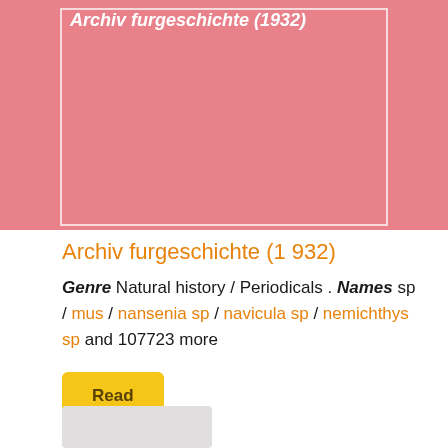[Figure (illustration): Pink/rose colored book cover with white border and italic white title text 'Archiv furgeschichte (1932)']
Archiv furgeschichte (1 932)
Genre Natural history / Periodicals . Names sp / mus / nansenia sp / navicula sp / nemichthys sp and 107723 more
Read